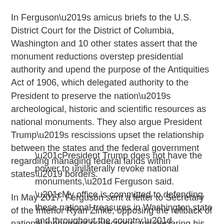In Ferguson's amicus briefs to the U.S. District Court for the District of Columbia, Washington and 10 other states assert that the monument reductions overstep presidential authority and upend the purpose of the Antiquities Act of 1906, which delegated authority to the President to preserve the nation's archeological, historic and scientific resources as national monuments. They also argue President Trump's rescissions upset the relationship between the states and the federal government regarding managing federal lands within states' borders.
“President Trump does not have the power to unilaterally revoke national monuments,” Ferguson said. “My office is committed to defending these national treasures in Washington state and throughout the country.”
In May 2017, Ferguson sent a letter to Secretary of the Interior Ryan Zinke, opposing the rollback of national monument protections and declaring his intent to file a